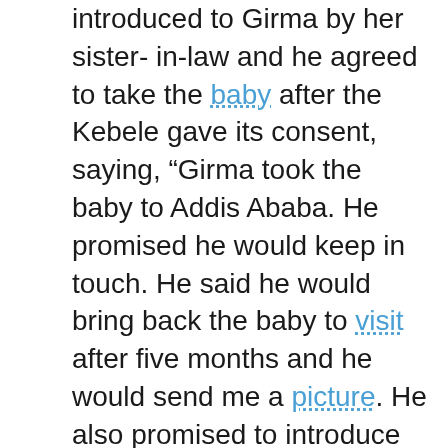introduced to Girma by her sister-in-law and he agreed to take the baby after the Kebele gave its consent, saying, “Girma took the baby to Addis Ababa. He promised he would keep in touch. He said he would bring back the baby to visit after five months and he would send me a picture. He also promised to introduce me to the family that would adopt her.”
Almaz also revealed that she never told Girma or the authorities that her daughter had died, adding, “But then Girma came to me and told me that the baby had been adopted and taken abroad. He said there will be journalists coming to you and you must deny the whole story and say it is not your granddaughter.”